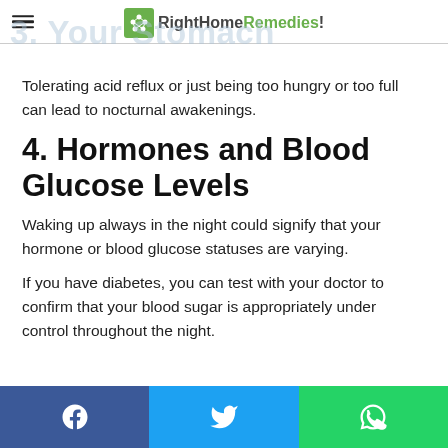RightHomeRemedies!
3. Your Stomach
Tolerating acid reflux or just being too hungry or too full can lead to nocturnal awakenings.
4. Hormones and Blood Glucose Levels
Waking up always in the night could signify that your hormone or blood glucose statuses are varying.
If you have diabetes, you can test with your doctor to confirm that your blood sugar is appropriately under control throughout the night.
[Figure (infographic): Social share bar with Facebook (blue), Twitter (cyan), and WhatsApp (green) buttons at the bottom of the page.]